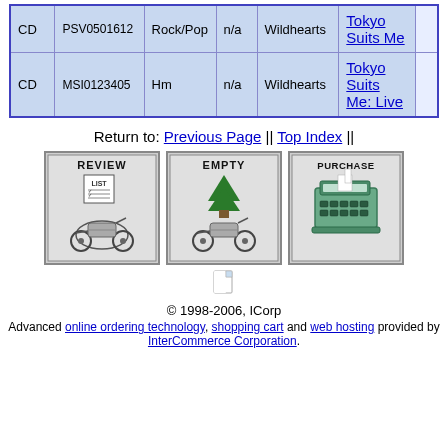|  |  |  |  |  |  |  |
| --- | --- | --- | --- | --- | --- | --- |
| CD | PSV0501612 | Rock/Pop | n/a | Wildhearts | Tokyo Suits Me |  |
| CD | MSI0123405 | Hm | n/a | Wildhearts | Tokyo Suits Me: Live |  |
Return to: Previous Page || Top Index ||
[Figure (illustration): Three shopping cart buttons: REVIEW LIST, EMPTY, PURCHASE with motorcycle cart icons]
[Figure (illustration): Small page/document icon]
© 1998-2006, ICorp
Advanced online ordering technology, shopping cart and web hosting provided by InterCommerce Corporation.